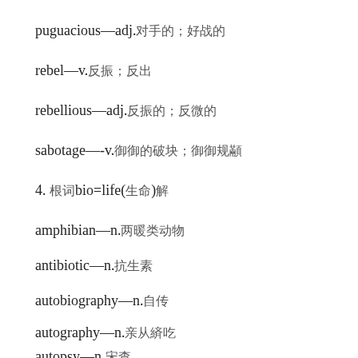puguacious—adj.□□□□
rebel—v.□□□
rebellious—adj.□□□□
sabotage—-v.□□□□□□□□
4. □□bio=life(□□)□
amphibian—n.□□□□□
antibiotic—n.□□□□
autobiography—n.□□□
autography—n.□□□□□
autopsy—n.□□□